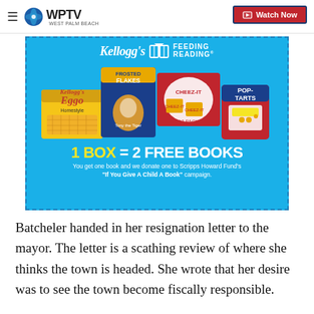≡ WPTV West Palm Beach | Watch Now
[Figure (illustration): Kellogg's Feeding Reading advertisement showing Frosted Flakes, Eggo, Cheez-It, and Pop-Tarts boxes on a blue background with text '1 BOX = 2 FREE BOOKS. You get one book and we donate one to Scripps Howard Fund's "If You Give A Child A Book" campaign.']
Batcheler handed in her resignation letter to the mayor. The letter is a scathing review of where she thinks the town is headed. She wrote that her desire was to see the town become fiscally responsible.